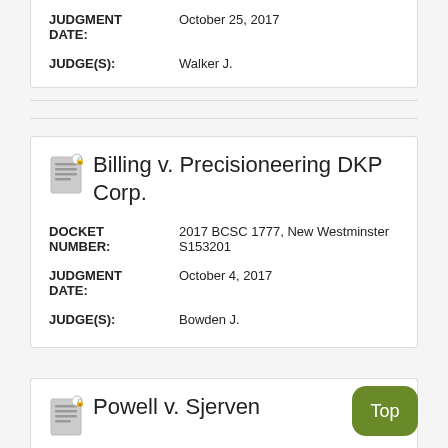JUDGMENT DATE: October 25, 2017
JUDGE(S): Walker J.
Billing v. Precisioneering DKP Corp.
DOCKET NUMBER: 2017 BCSC 1777, New Westminster S153201
JUDGMENT DATE: October 4, 2017
JUDGE(S): Bowden J.
Powell v. Sjerven